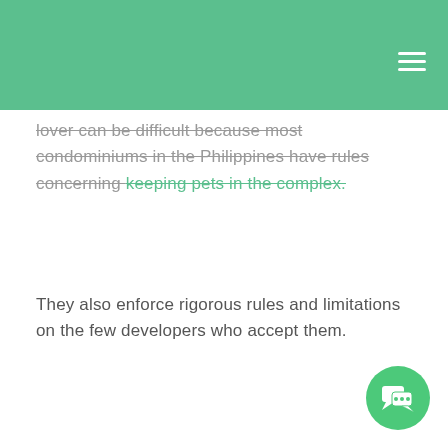lover can be difficult because most condominiums in the Philippines have rules concerning keeping pets in the complex.
They also enforce rigorous rules and limitations on the few developers who accept them.